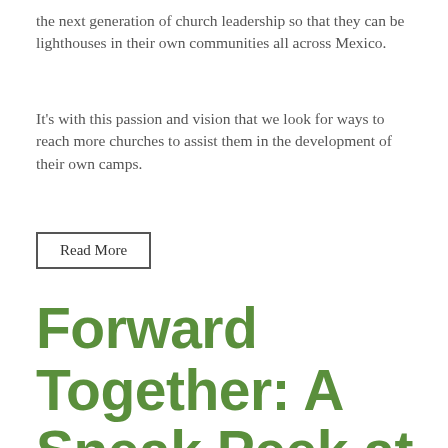the next generation of church leadership so that they can be lighthouses in their own communities all across Mexico.
It's with this passion and vision that we look for ways to reach more churches to assist them in the development of their own camps.
Read More
Forward Together: A Sneak Peek at the Heart to Bring Lasting Light to M...